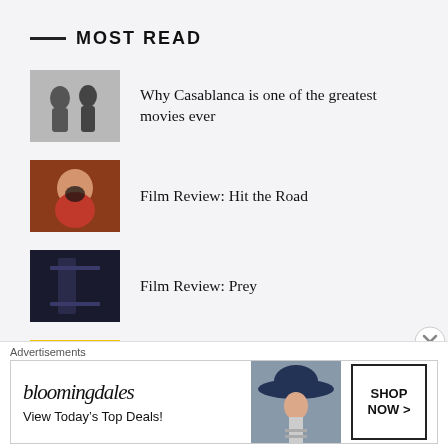MOST READ
Why Casablanca is one of the greatest movies ever
Film Review: Hit the Road
Film Review: Prey
The true cost of movie-making
Film Review: 'The Apartment'
Film Review: None
Advertisements
[Figure (illustration): Bloomingdale's advertisement banner with woman in hat and 'SHOP NOW >' button. Text: 'bloomingdales View Today's Top Deals!']